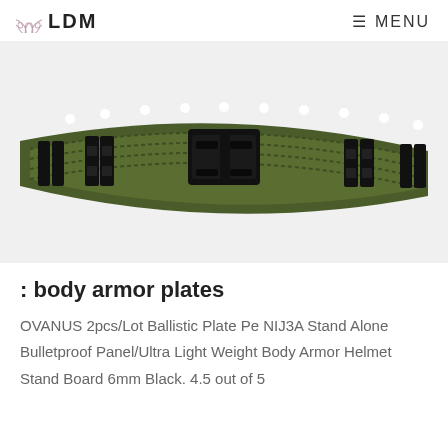LDM   ≡ MENU
[Figure (photo): A green military-style nylon belt with black plastic buckles and clip attachments, displayed on a white background.]
: body armor plates
OVANUS 2pcs/Lot Ballistic Plate Pe NIJ3A Stand Alone Bulletproof Panel/Ultra Light Weight Body Armor Helmet Stand Board 6mm Black. 4.5 out of 5